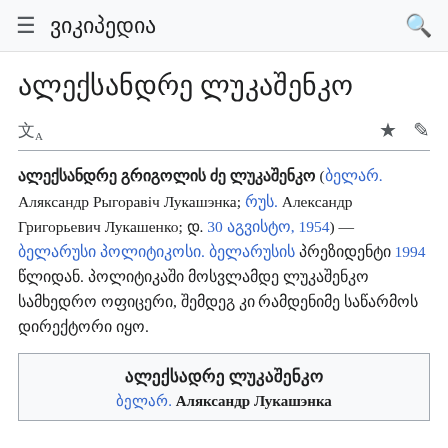≡ ვიკიპედია 🔍
ალექსანდრე ლუკაშენკო
ალექსანდრე გრიგოლის ძე ლუკაშენკო (ბელარ. Аляксандр Рыгоравіч Лукашэнка; რუს. Александр Григорьевич Лукашенко; დ. 30 აგვისტო, 1954) — ბელარუსი პოლიტიკოსი. ბელარუსის პრეზიდენტი 1994 წლიდან. პოლიტიკაში მოსვლამდე ლუკაშენკო სამხედრო ოფიცერი, შემდეგ კი რამდენიმე საწარმოს დირექტორი იყო.
| ალექსადრე ლუკაშენკო |
| ბელარ. Аляксандр Лукашэнка |